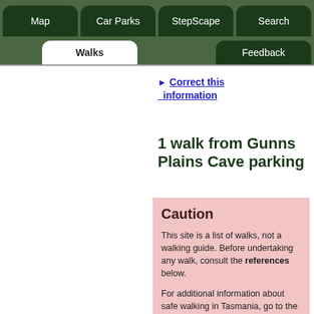Map | Car Parks | StepScape | Search | Walks | Feedback
► Correct this information
1 walk from Gunns Plains Cave parking
Caution
This site is a list of walks, not a walking guide. Before undertaking any walk, consult the references below.
For additional information about safe walking in Tasmania, go to the StepScape tab.